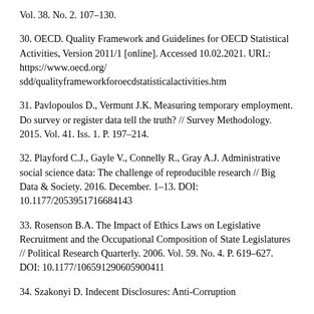Vol. 38. No. 2. 107–130.
30. OECD. Quality Framework and Guidelines for OECD Statistical Activities, Version 2011/1 [online]. Accessed 10.02.2021. URL: https://www.oecd.org/sdd/qualityframeworkforoecdstatisticalactivities.htm
31. Pavlopoulos D., Vermunt J.K. Measuring temporary employment. Do survey or register data tell the truth? // Survey Methodology. 2015. Vol. 41. Iss. 1. P. 197–214.
32. Playford C.J., Gayle V., Connelly R., Gray A.J. Administrative social science data: The challenge of reproducible research // Big Data & Society. 2016. December. 1–13. DOI: 10.1177/2053951716684143
33. Rosenson B.A. The Impact of Ethics Laws on Legislative Recruitment and the Occupational Composition of State Legislatures // Political Research Quarterly. 2006. Vol. 59. No. 4. P. 619–627. DOI: 10.1177/106591290605900411
34. Szakonyi D. Indecent Disclosures: Anti-Corruption